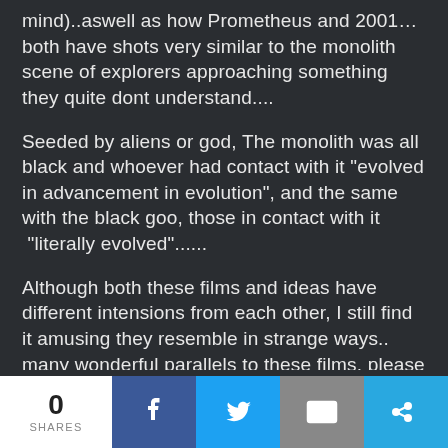mind)..aswell as how Prometheus and 2001… both have shots very similar to the monolith scene of explorers approaching something they quite dont understand....
Seeded by aliens or god, The monolith was all black and whoever had contact with it "evolved in advancement in evolution", and the same with the black goo, those in contact with it  "literally evolved"......
Although both these films and ideas have different intensions from each other, I still find it amusing they resemble in strange ways.. many wonderful parallels to these films. please feel free to comment and share pictures of comparisons between the two.....  :)
0 SHARES | Facebook | Twitter | Mail | Share